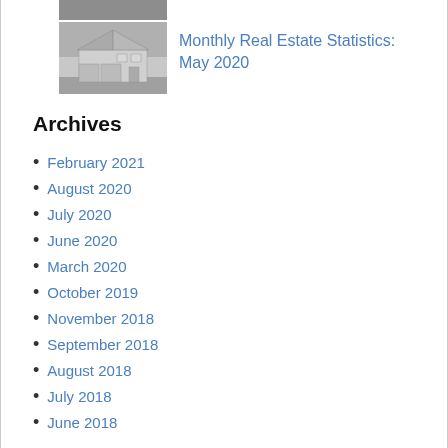[Figure (photo): Partial top of a real estate image (cropped)]
[Figure (photo): Black and white photo of a large house with garage, real estate listing image]
Monthly Real Estate Statistics: May 2020
Archives
February 2021
August 2020
July 2020
June 2020
March 2020
October 2019
November 2018
September 2018
August 2018
July 2018
June 2018
May 2018
April 2018